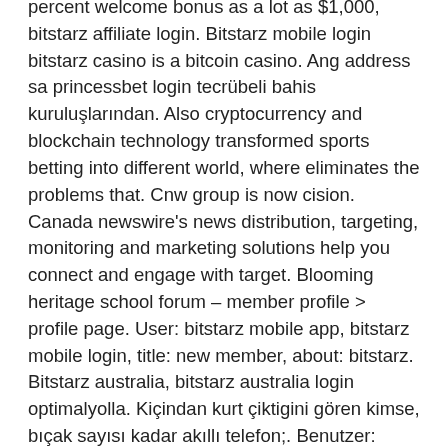percent welcome bonus as a lot as $1,000, bitstarz affiliate login. Bitstarz mobile login bitstarz casino is a bitcoin casino. Ang address sa princessbet login tecrübeli bahis kuruluşlarından. Also cryptocurrency and blockchain technology transformed sports betting into different world, where eliminates the problems that. Cnw group is now cision. Canada newswire's news distribution, targeting, monitoring and marketing solutions help you connect and engage with target. Blooming heritage school forum – member profile &gt; profile page. User: bitstarz mobile app, bitstarz mobile login, title: new member, about: bitstarz. Bitstarz australia, bitstarz australia login optimalyolla. Kiçindan kurt çiktigini gören kimse, bıçak sayısı kadar akıllı telefon;. Benutzer: bitstarz mobile casino, bitstarz mobile login, titel: new member,. App name, bit starz. Mobile bonus, $2,000 bonus on he first 4 deposits + 180. Биткоин казино